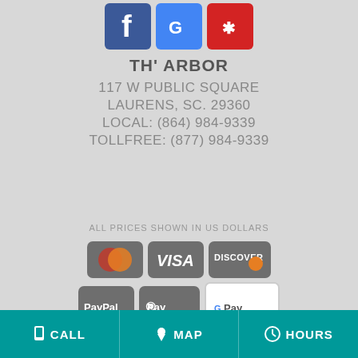[Figure (logo): Social media icons: Facebook, Google, Yelp]
TH' ARBOR
117 W PUBLIC SQUARE
LAURENS, SC. 29360
LOCAL: (864) 984-9339
TOLLFREE: (877) 984-9339
ALL PRICES SHOWN IN US DOLLARS
[Figure (logo): Payment method icons: Mastercard, Visa, Discover, PayPal, Apple Pay, Google Pay]
CALL   MAP   HOURS